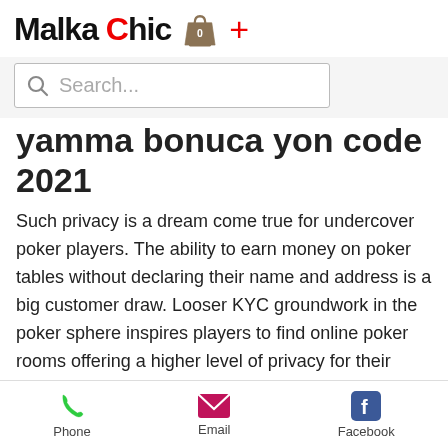Malka Chic [shopping bag icon] +
Search...
yamma bonuca yon code 2021
Such privacy is a dream come true for undercover poker players. The ability to earn money on poker tables without declaring their name and address is a big customer draw. Looser KYC groundwork in the poker sphere inspires players to find online poker rooms offering a higher level of privacy for their users. This has led many to become interested in crypto poker rooms -- much to their delight, bitstarz promo code no deposit. After clicking Faucet button and solving
Phone   Email   Facebook